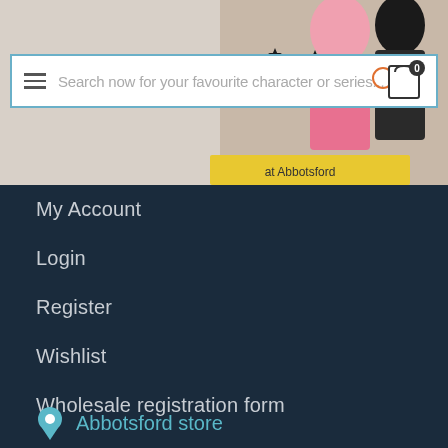[Figure (screenshot): Website banner showing anime/manga figurines with 'at Abbotsford' text overlay, partially visible]
Search now for your favourite character or series...
My Account
Login
Register
Wishlist
Wholesale registration form
Abbotsford store